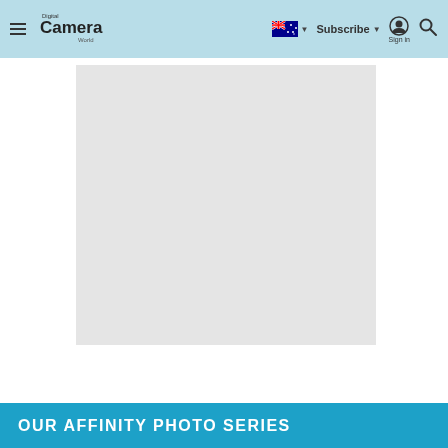Digital Camera World — Subscribe | Sign in | Search
[Figure (screenshot): Blank/placeholder light gray image in center of page]
OUR AFFINITY PHOTO SERIES